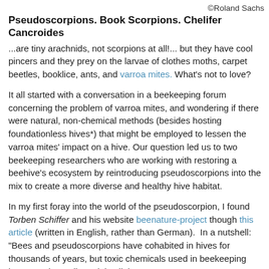©Roland Sachs
Pseudoscorpions. Book Scorpions. Chelifer Cancroides
...are tiny arachnids, not scorpions at all!... but they have cool pincers and they prey on the larvae of clothes moths, carpet beetles, booklice, ants, and varroa mites. What's not to love?
It all started with a conversation in a beekeeping forum concerning the problem of varroa mites, and wondering if there were natural, non-chemical methods (besides hosting foundationless hives*) that might be employed to lessen the varroa mites' impact on a hive. Our question led us to two beekeeping researchers who are working with restoring a beehive's ecosystem by reintroducing pseudoscorpions into the mix to create a more diverse and healthy hive habitat.
In my first foray into the world of the pseudoscorpion, I found Torben Schiffer and his website beenature-project though this article (written in English, rather than German).  In a nutshell:  "Bees and pseudoscorpions have cohabited in hives for thousands of years, but toxic chemicals used in beekeeping have nearly eradicated the 'little